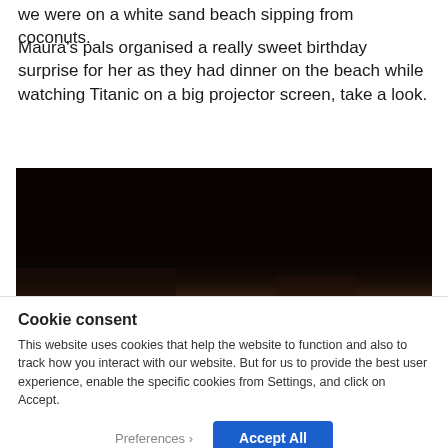we were on a white sand beach sipping from coconuts.
Maura's pals organised a really sweet birthday surprise for her as they had dinner on the beach while watching Titanic on a big projector screen, take a look.
[Figure (photo): A very dark/night-time photo, nearly black with slight warm tones at the bottom — appears to be an outdoor night scene on a beach.]
Cookie consent
This website uses cookies that help the website to function and also to track how you interact with our website. But for us to provide the best user experience, enable the specific cookies from Settings, and click on Accept.